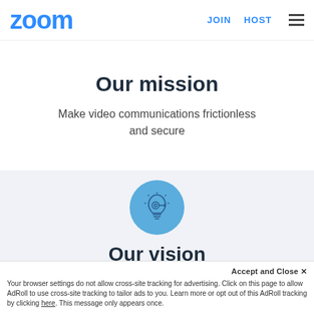zoom   JOIN   HOST   ≡
Our mission
Make video communications frictionless and secure
[Figure (illustration): Light bulb with target/crosshair icon inside a blue circle, representing vision/goal]
Our vision
Video communications empower...
Accept and Close ✕
Your browser settings do not allow cross-site tracking for advertising. Click on this page to allow AdRoll to use cross-site tracking to tailor ads to you. Learn more or opt out of this AdRoll tracking by clicking here. This message only appears once.